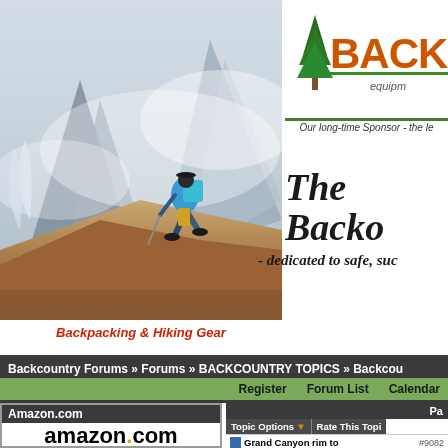[Figure (photo): Hiker with blue backpack climbing rocky mountain ridge with misty peaks in background]
[Figure (logo): Backcountry equipment logo with tree icon, orange text BACKCOUNTRY, green underline, italic 'equipm...' subtitle]
Our long-time Sponsor - the le
The Backo
- dedicated to safe, suc
Backpacking & Hiking Gear
Backcountry Forums » Forums » BACKCOUNTRY TOPICS » Backcou
Register   Forum List   Calendar
Amazon.com
[Figure (logo): amazon.com logo in black bold text with orange arrow underneath]
Pa
Topic Options ▼   Rate This Topi
Grand Canyon rim to   #90828